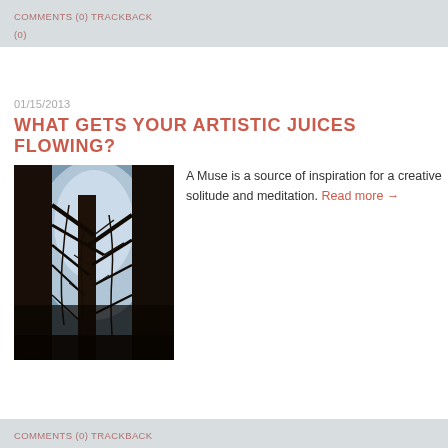COMMENTS (0) TRACKBACK (0)
01/15/2013
WHAT GETS YOUR ARTISTIC JUICES FLOWING?
[Figure (photo): Dark forest photo showing tall redwood or sequoia trees with light filtering through, branches silhouetted against a bright misty background]
A Muse is a source of inspiration for a creative solitude and meditation. Read more →
COMMENTS (0) TRACKBACK